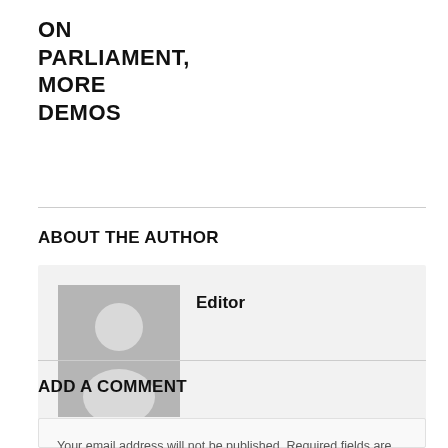ON PARLIAMENT, MORE DEMOS
ABOUT THE AUTHOR
[Figure (illustration): Generic user avatar placeholder image — grey square with white silhouette of a person (head circle and shoulders)]
Editor
ADD A COMMENT
Your email address will not be published. Required fields are marked *